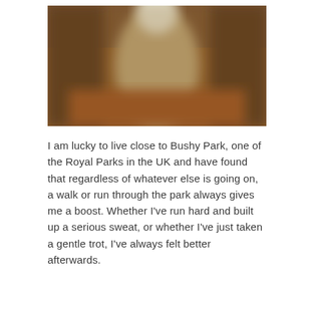[Figure (photo): Blurred outdoor photo of a park path through trees, with warm autumn brown and orange tones, taken in Bushy Park.]
I am lucky to live close to Bushy Park, one of the Royal Parks in the UK and have found that regardless of whatever else is going on, a walk or run through the park always gives me a boost. Whether I've run hard and built up a serious sweat, or whether I've just taken a gentle trot, I've always felt better afterwards.